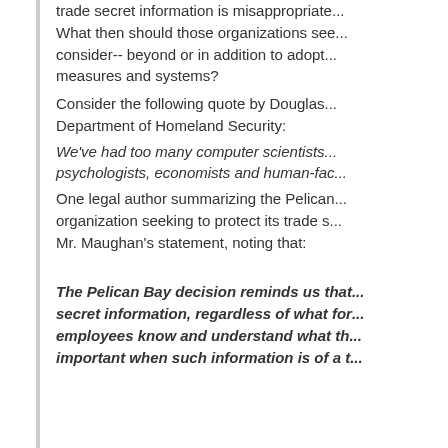trade secret information is misappropriate... What then should those organizations see... consider-- beyond or in addition to adopt... measures and systems?
Consider the following quote by Douglas... Department of Homeland Security:
We've had too many computer scientists... psychologists, economists and human-fac...
One legal author summarizing the Pelican... organization seeking to protect its trade s... Mr. Maughan's statement, noting that:
The Pelican Bay decision reminds us that... secret information, regardless of what for... employees know and understand what th... important when such information is of a t...